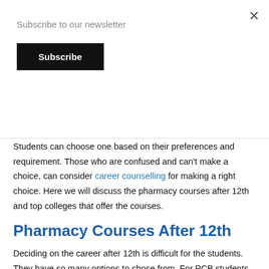Subscribe to our newsletter
Subscribe
Students can choose one based on their preferences and requirement. Those who are confused and can't make a choice, can consider career counselling for making a right choice. Here we will discuss the pharmacy courses after 12th and top colleges that offer the courses.
Pharmacy Courses After 12th
Deciding on the career after 12th is difficult for the students. They have so many options to chose from. For PCB students MBBS and BDS is considered as the best career options after 12th. Another field where they can have a stable career is Pharmacy. Let us know more about the pharmacy courses after